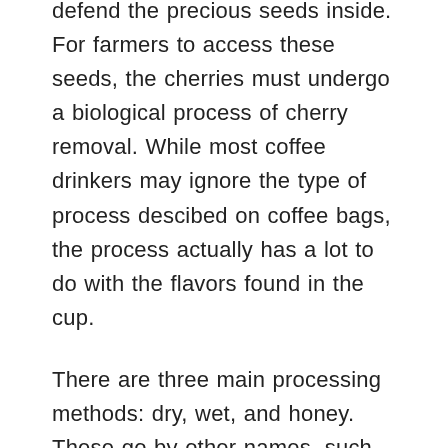defend the precious seeds inside. For farmers to access these seeds, the cherries must undergo a biological process of cherry removal. While most coffee drinkers may ignore the type of process descibed on coffee bags, the process actually has a lot to do with the flavors found in the cup.
There are three main processing methods: dry, wet, and honey. These go by other names, such as sundried/natural, or washed, or pulped-natural, but despite the lingual differences they all descibe one of the three main processes.
In the washed process, the beans are de-pulped which removes the beans from the outer cherry before undergoing a fermentation process in